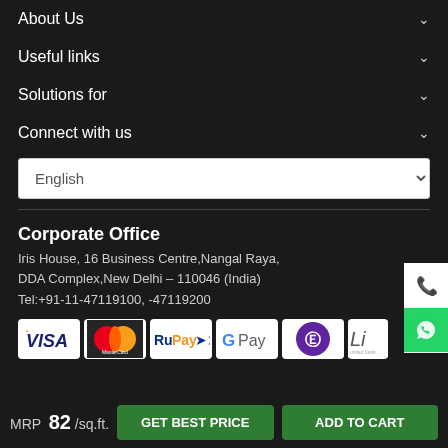About Us
Useful links
Solutions for
Connect with us
English
Corporate Office
Iris House, 16 Business Centre,Nangal Raya, DDA Complex,New Delhi – 110046 (India)
Tel:+91-11-47119100, -47119200
[Figure (logo): Payment method logos: VISA, MasterCard, RuPay, G Pay, PhonePe, and one partially visible logo]
MRP  82 /sq.ft.
GET BEST PRICE
ADD TO CART